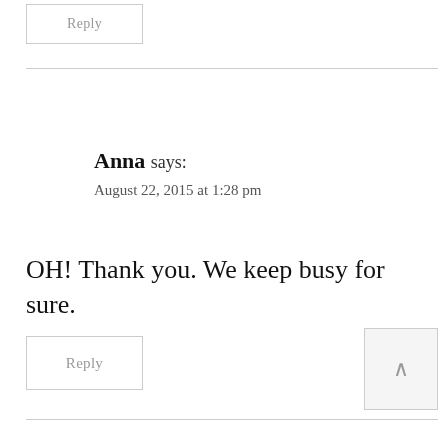Reply
Anna says:
August 22, 2015 at 1:28 pm
OH! Thank you. We keep busy for sure.
Reply